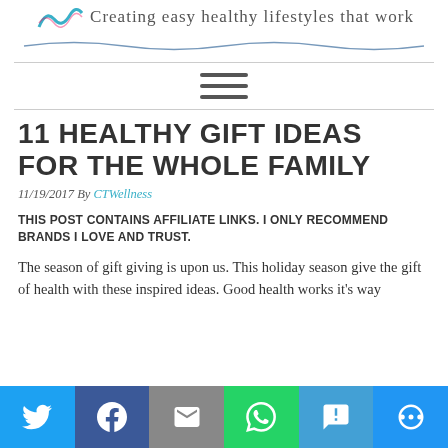Creating easy healthy lifestyles that work
[Figure (illustration): Wave/swoosh decorative line separator]
[Figure (illustration): Hamburger menu icon (three horizontal lines)]
11 HEALTHY GIFT IDEAS FOR THE WHOLE FAMILY
11/19/2017 By CTWellness
THIS POST CONTAINS AFFILIATE LINKS.  I ONLY RECOMMEND BRANDS I LOVE AND TRUST.
The season of gift giving is upon us.  This holiday season give the gift of health with these inspired ideas. Good health works it's way
[Figure (infographic): Social sharing bar at the bottom with Twitter, Facebook, Email, WhatsApp, SMS, and More buttons]